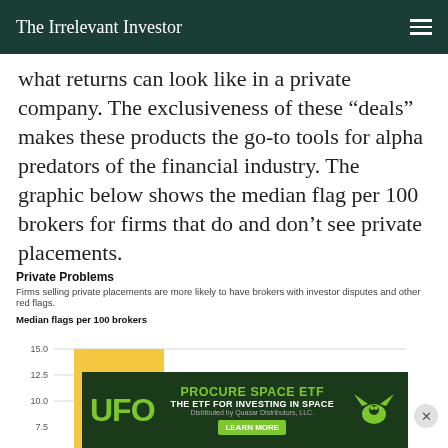The Irrelevant Investor
what returns can look like in a private company. The exclusiveness of these “deals” makes these products the go-to tools for alpha predators of the financial industry. The graphic below shows the median flag per 100 brokers for firms that do and don’t see private placements.
[Figure (bar-chart): Private Problems]
[Figure (infographic): UFO Procure Space ETF advertisement banner]